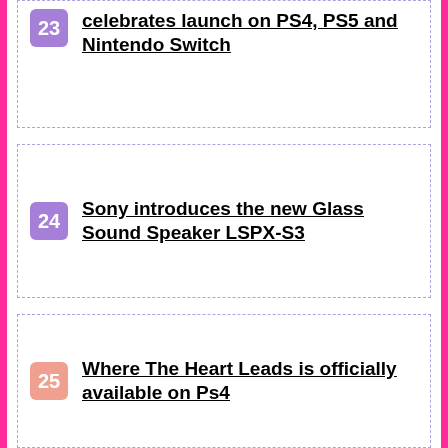23 celebrates launch on PS4, PS5 and Nintendo Switch
24 Sony introduces the new Glass Sound Speaker LSPX-S3
25 Where The Heart Leads is officially available on Ps4
26 Pride Month 2021 themes still available for PS4, here are the codes